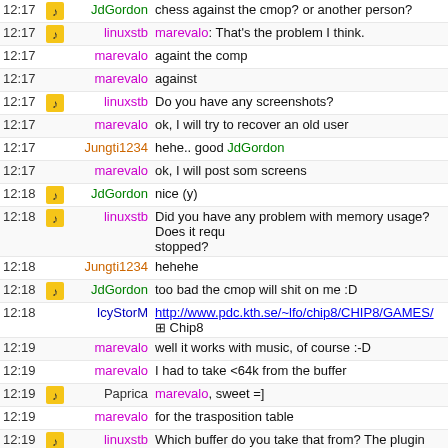12:17 JdGordon chess against the cmop? or another person?
12:17 linuxstb marevalo: That's the problem I think.
12:17 marevalo againt the comp
12:17 marevalo against
12:17 linuxstb Do you have any screenshots?
12:17 marevalo ok, I will try to recover an old user
12:17 Jungti1234 hehe.. good JdGordon
12:17 marevalo ok, I will post som screens
12:18 JdGordon nice (y)
12:18 linuxstb Did you have any problem with memory usage? Does it requ... stopped?
12:18 Jungti1234 hehehe
12:18 JdGordon too bad the cmop will shit on me :D
12:18 IcyStorM http://www.pdc.kth.se/~lfo/chip8/CHIP8/GAMES/ Chip8
12:19 marevalo well it works with music, of course :-D
12:19 marevalo I had to take <64k from the buffer
12:19 Paprica marevalo, sweet =]
12:19 marevalo for the trasposition table
12:19 linuxstb Which buffer do you take that from? The plugin buffer?
12:20 marevalo ouch
12:20 marevalo rb->get_buffer
12:20 linuxstb Do you mean rb->plugin_get_buffer() ?
12:20 marevalo let me see
12:21 JdGordon is the sim 555swapped? or unswapped?